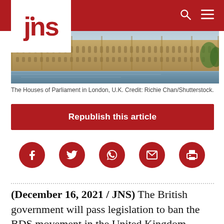jns
[Figure (photo): The Houses of Parliament building in London viewed from across the river, a large Gothic-style stone building.]
The Houses of Parliament in London, U.K. Credit: Richie Chan/Shutterstock.
[Figure (other): Republish this article button — red button with white text]
[Figure (other): Social sharing icons row: Facebook, Twitter, WhatsApp, Email, Print — all red circles with white icons]
(December 16, 2021 / JNS) The British government will pass legislation to ban the BDS movement in the United Kingdom. British